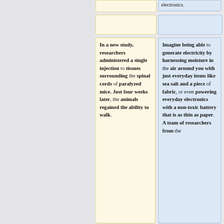electronics.
In a new study, researchers administered a single injection to tissues surrounding the spinal cords of paralyzed mice. Just four weeks later, the animals regained the ability to walk.
Imagine being able to generate electricity by harnessing moisture in the air around you with just everyday items like sea salt and a piece of fabric, or even powering everyday electronics with a non-toxic battery that is as thin as paper. A team of researchers from the